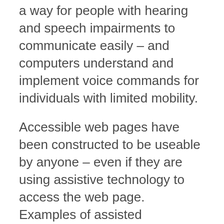a way for people with hearing and speech impairments to communicate easily – and computers understand and implement voice commands for individuals with limited mobility.
Accessible web pages have been constructed to be useable by anyone – even if they are using assistive technology to access the web page. Examples of assisted technology are screen readers, screen magnifiers, voice recognition software, alternative keyboards, and braille displays.
Why Accessible?